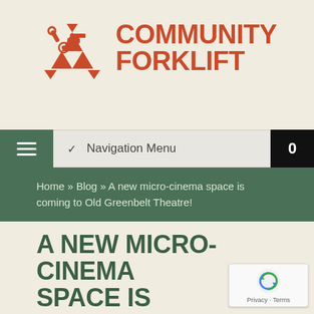[Figure (logo): Community Forklift logo: orange/red recycling triangle with tools icon and bold red text reading COMMUNITY FORKLIFT]
[Figure (screenshot): Navigation menu bar with green hamburger button, dropdown showing Navigation Menu text with chevron, and black cart button showing 0]
Home » Blog » A new micro-cinema space is coming to Old Greenbelt Theatre!
A NEW MICRO-CINEMA SPACE IS COMING TO OLD GREENBELT THEATRE!